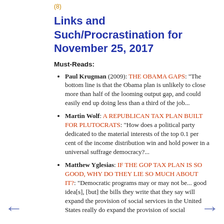(8)
Links and Such/Procrastination for November 25, 2017
Must-Reads:
Paul Krugman (2009): THE OBAMA GAPS: "The bottom line is that the Obama plan is unlikely to close more than half of the looming output gap, and could easily end up doing less than a third of the job...
Martin Wolf: A REPUBLICAN TAX PLAN BUILT FOR PLUTOCRATS: "How does a political party dedicated to the material interests of the top 0.1 per cent of the income distribution win and hold power in a universal suffrage democracy?...
Matthew Yglesias: IF THE GOP TAX PLAN IS SO GOOD, WHY DO THEY LIE SO MUCH ABOUT IT?: "Democratic programs may or may not be... good idea[s], [but] the bills they write that they say will expand the provision of social services in the United States really do expand the provision of social services...
Martin Sandbu: WHO SHOULD GOVERN THE EURO?: "I